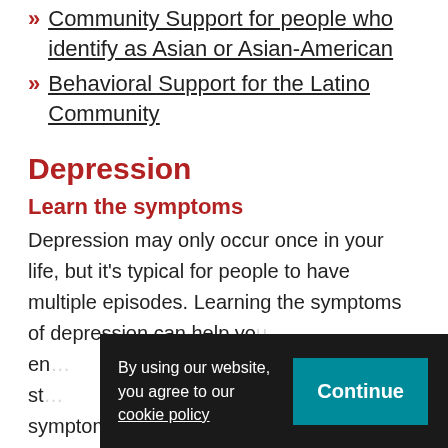Community Support for people who identify as Asian or Asian-American
Behavioral Support for the Latino Community
Depression
Learn the symptoms
Depression may only occur once in your life, but it's typical for people to have multiple episodes. Learning the symptoms of depression can help you... symptoms include:
By using our website, you agree to our cookie policy  Continue